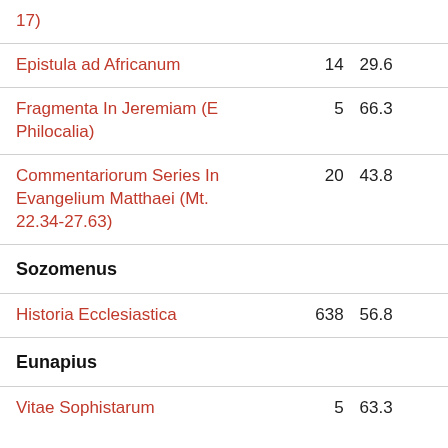| Work |  |  |
| --- | --- | --- |
| 17) |  |  |
| Epistula ad Africanum | 14 | 29.6 |
| Fragmenta In Jeremiam (E Philocalia) | 5 | 66.3 |
| Commentariorum Series In Evangelium Matthaei (Mt. 22.34-27.63) | 20 | 43.8 |
| Sozomenus |  |  |
| Historia Ecclesiastica | 638 | 56.8 |
| Eunapius |  |  |
| Vitae Sophistarum | 5 | 63.3 |